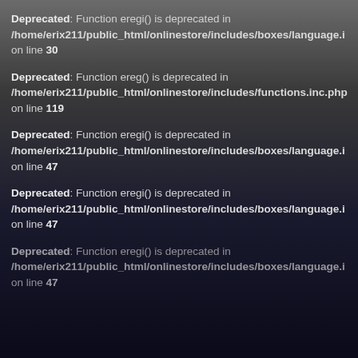Deprecated: Function eregi() is deprecated in /home/erix211/public_html/onlinestore/includes/boxes/language.i on line 30
Deprecated: Function ereg() is deprecated in /home/erix211/public_html/onlinestore/includes/functions.inc.php on line 119
Deprecated: Function eregi() is deprecated in /home/erix211/public_html/onlinestore/includes/boxes/language.i on line 47
Deprecated: Function eregi() is deprecated in /home/erix211/public_html/onlinestore/includes/boxes/language.i on line 47
Deprecated: Function eregi() is deprecated in /home/erix211/public_html/onlinestore/includes/boxes/language.i on line 47